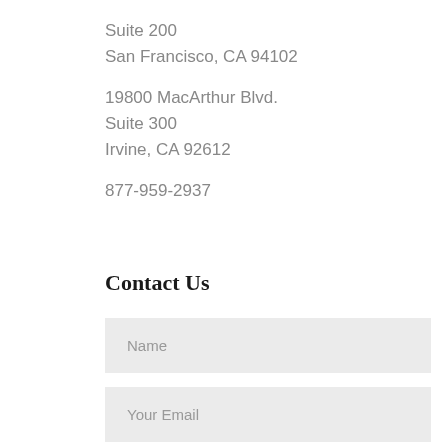Suite 200
San Francisco, CA 94102
19800 MacArthur Blvd.
Suite 300
Irvine, CA 92612
877-959-2937
Contact Us
Name
Your Email